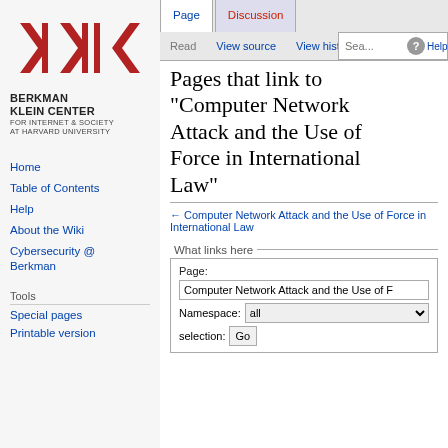Log in
[Figure (logo): Berkman Klein Center for Internet & Society at Harvard University logo — angular red/dark shapes with vertical bars]
BERKMAN
KLEIN CENTER
FOR INTERNET & SOCIETY
AT HARVARD UNIVERSITY
Home
Table of Contents
Help
About the Wiki
Cybersecurity @ Berkman
Tools
Special pages
Printable version
Pages that link to "Computer Network Attack and the Use of Force in International Law"
← Computer Network Attack and the Use of Force in International Law
What links here
Page:
Computer Network Attack and the Use of F
Namespace: all
selection: Go